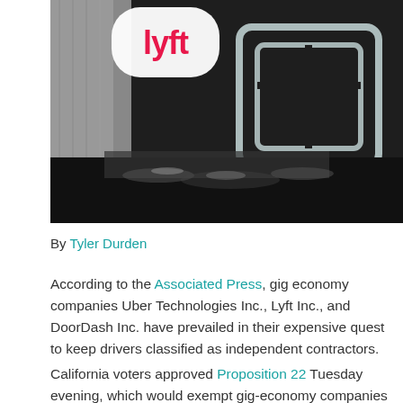[Figure (photo): Close-up photo of a Lyft logo sticker (white oval with pink/red Lyft text) on a car window or surface, with an Uber logo (white square outline with stylized U shape) visible on the dark glass behind it.]
By Tyler Durden
According to the Associated Press, gig economy companies Uber Technologies Inc., Lyft Inc., and DoorDash Inc. have prevailed in their expensive quest to keep drivers classified as independent contractors.
California voters approved Proposition 22 Tuesday evening, which would exempt gig-economy companies